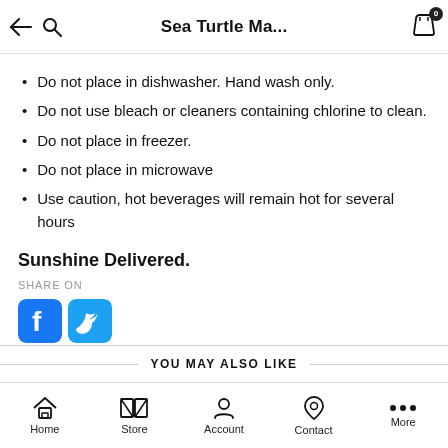Sea Turtle Ma...
Do not place in dishwasher. Hand wash only.
Do not use bleach or cleaners containing chlorine to clean.
Do not place in freezer.
Do not place in microwave
Use caution, hot beverages will remain hot for several hours
Sunshine Delivered.
SHARE ON
[Figure (screenshot): Social sharing icons: Facebook and Twitter]
YOU MAY ALSO LIKE
Home  Store  Account  Contact  More